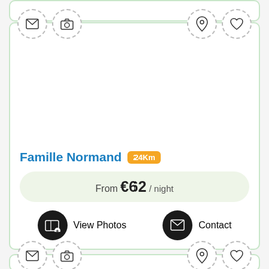[Figure (screenshot): Top card strip showing icon row with mail, camera, location pin, and heart icons along dashed circles]
[Figure (infographic): Listing card for Famille Normand showing icon row, empty photo area, title with 24Km badge, price bar 'From €62 / night', View Photos and Contact buttons]
Famille Normand 24Km
From €62 / night
View Photos
Contact
[Figure (screenshot): Bottom card strip showing icon row with mail, camera, location pin, and heart icons along dashed circles]